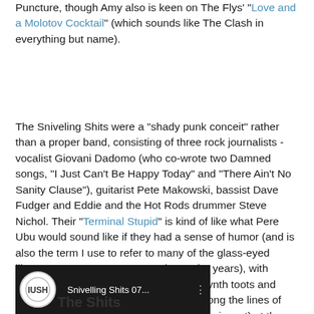Puncture, though Amy also is keen on The Flys' "Love and a Molotov Cocktail" (which sounds like The Clash in everything but name).
The Sniveling Shits were a "shady punk conceit" rather than a proper band, consisting of three rock journalists - vocalist Giovani Dadomo (who co-wrote two Damned songs, "I Just Can't Be Happy Today" and "There Ain't No Sanity Clause"), guitarist Pete Makowski, bassist Dave Fudger and Eddie and the Hot Rods drummer Steve Nichol. Their "Terminal Stupid" is kind of like what Pere Ubu would sound like if they had a sense of humor (and is also the term I use to refer to many of the glass-eyed library patrons I've encountered over the years), with raucous guitars, verbal vitriol and farty synth toots and squeals as Giovani sneers something along the lines of "You're a damp squid" (the kind I prefer to ingest) at the end...
[Figure (screenshot): Video thumbnail showing Snivelling Shits 07... with a logo icon on dark background]